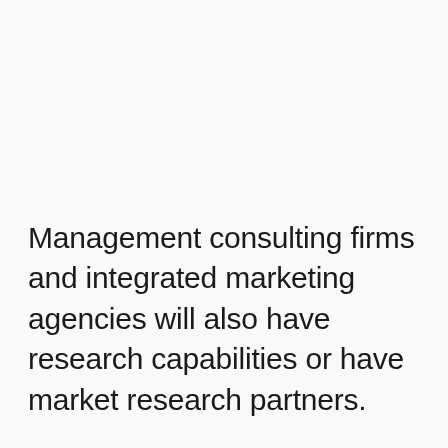Management consulting firms and integrated marketing agencies will also have research capabilities or have market research partners.